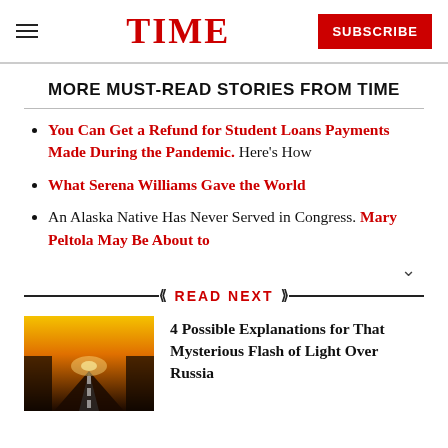TIME — SUBSCRIBE
MORE MUST-READ STORIES FROM TIME
You Can Get a Refund for Student Loans Payments Made During the Pandemic. Here's How
What Serena Williams Gave the World
An Alaska Native Has Never Served in Congress. Mary Peltola May Be About to
READ NEXT
4 Possible Explanations for That Mysterious Flash of Light Over Russia